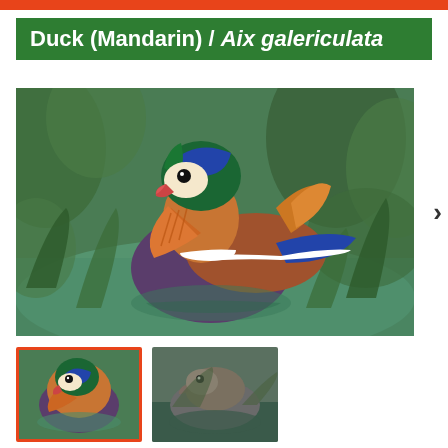Duck (Mandarin) / Aix galericulata
[Figure (photo): Colorful male Mandarin duck swimming in water surrounded by green aquatic plants. The duck displays vivid plumage: iridescent green and blue head, orange fan-like cheek feathers, purple breast, white and black striping, blue and orange back feathers.]
[Figure (photo): Thumbnail of Mandarin duck, close-up front view showing colorful plumage, selected with orange border.]
[Figure (photo): Thumbnail of Mandarin duck in water, side view, more muted tones.]